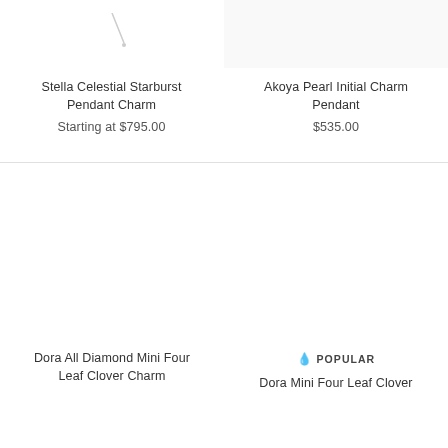[Figure (photo): Partial image of Stella Celestial Starburst Pendant Charm jewelry item (cropped at top)]
Stella Celestial Starburst Pendant Charm
Starting at $795.00
[Figure (photo): Partial image of Akoya Pearl Initial Charm Pendant jewelry item (cropped at top)]
Akoya Pearl Initial Charm Pendant
$535.00
[Figure (photo): Image area for Dora All Diamond Mini Four Leaf Clover Charm (blank/white)]
Dora All Diamond Mini Four Leaf Clover Charm
[Figure (photo): Image area for Dora Mini Four Leaf Clover with POPULAR badge (blank/white)]
POPULAR
Dora Mini Four Leaf Clover